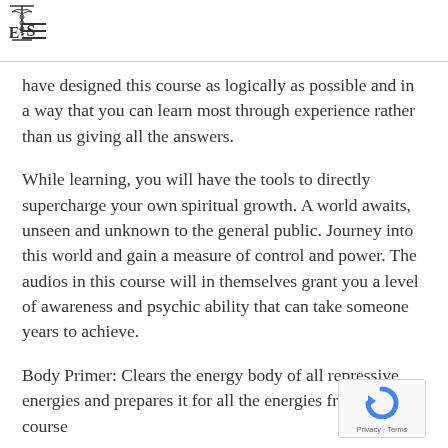ETS (logo)
have designed this course as logically as possible and in a way that you can learn most through experience rather than us giving all the answers.
While learning, you will have the tools to directly supercharge your own spiritual growth. A world awaits, unseen and unknown to the general public. Journey into this world and gain a measure of control and power. The audios in this course will in themselves grant you a level of awareness and psychic ability that can take someone years to achieve.
Body Primer: Clears the energy body of all repressive energies and prepares it for all the energies from this course